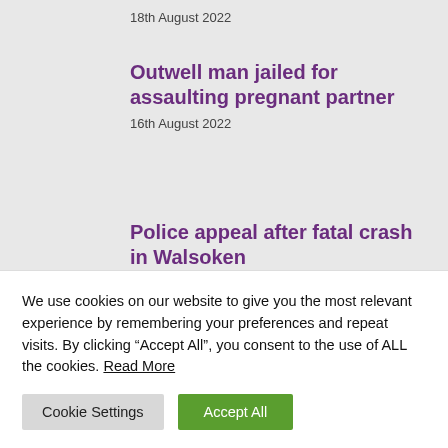18th August 2022
Outwell man jailed for assaulting pregnant partner
16th August 2022
Police appeal after fatal crash in Walsoken
17th August 2022
POPULAR CATEGORIES
We use cookies on our website to give you the most relevant experience by remembering your preferences and repeat visits. By clicking “Accept All”, you consent to the use of ALL the cookies. Read More